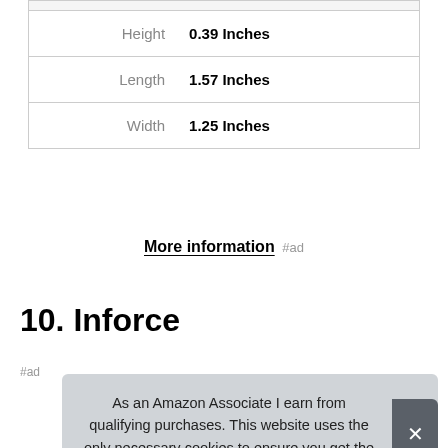|  |  |
| --- | --- |
| Height | 0.39 Inches |
| Length | 1.57 Inches |
| Width | 1.25 Inches |
More information #ad
10. Inforce
#ad
As an Amazon Associate I earn from qualifying purchases. This website uses the only necessary cookies to ensure you get the best experience on our website. More information